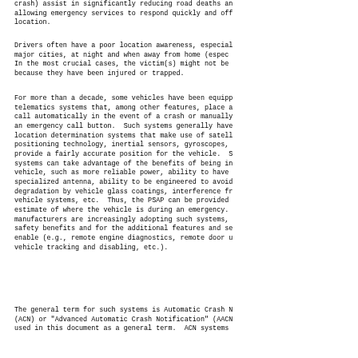crash) assist in significantly reducing road deaths and allowing emergency services to respond quickly and off location.
Drivers often have a poor location awareness, especially major cities, at night and when away from home (especially In the most crucial cases, the victim(s) might not be because they have been injured or trapped.
For more than a decade, some vehicles have been equipped telematics systems that, among other features, place a call automatically in the event of a crash or manually an emergency call button.  Such systems generally have location determination systems that make use of satellite positioning technology, inertial sensors, gyroscopes, provide a fairly accurate position for the vehicle.  Such systems can take advantage of the benefits of being in vehicle, such as more reliable power, ability to have specialized antenna, ability to be engineered to avoid degradation by vehicle glass coatings, interference from vehicle systems, etc.  Thus, the PSAP can be provided estimate of where the vehicle is during an emergency. manufacturers are increasingly adopting such systems, safety benefits and for the additional features and services enable (e.g., remote engine diagnostics, remote door unlocking, vehicle tracking and disabling, etc.).
The general term for such systems is Automatic Crash Notification (ACN) or "Advanced Automatic Crash Notification" (AACN) used in this document as a general term.  ACN systems